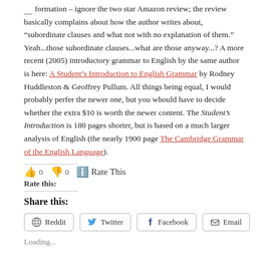information – ignore the two star Amazon review; the review basically complains about how the author writes about, "subordinate clauses and what not with no explanation of them." Yeah...those subordinate clauses...what are those anyway...? A more recent (2005) introductory grammar to English by the same author is here: A Student's Introduction to English Grammar by Rodney Huddleston & Geoffrey Pullum. All things being equal, I would probably perfer the newer one, but you whould have to decide whether the extra $10 is worth the newer content. The Student's Introduction is 180 pages shorter, but is based on a much larger analysis of English (the nearly 1900 page The Cambridge Grammar of the English Language).
Rate this: 👍 0 👎 0 ℹ Rate This
Share this:
Reddit
Twitter
Facebook
Email
Loading...